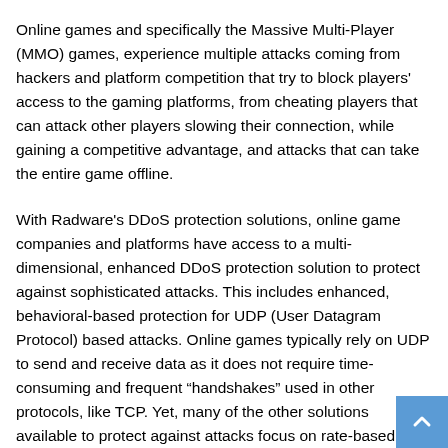Online games and specifically the Massive Multi-Player (MMO) games, experience multiple attacks coming from hackers and platform competition that try to block players' access to the gaming platforms, from cheating players that can attack other players slowing their connection, while gaining a competitive advantage, and attacks that can take the entire game offline.
With Radware's DDoS protection solutions, online game companies and platforms have access to a multi-dimensional, enhanced DDoS protection solution to protect against sophisticated attacks. This includes enhanced, behavioral-based protection for UDP (User Datagram Protocol) based attacks. Online games typically rely on UDP to send and receive data as it does not require time-consuming and frequent “handshakes” used in other protocols, like TCP. Yet, many of the other solutions available to protect against attacks focus on rate-based volumetric protection and, especially